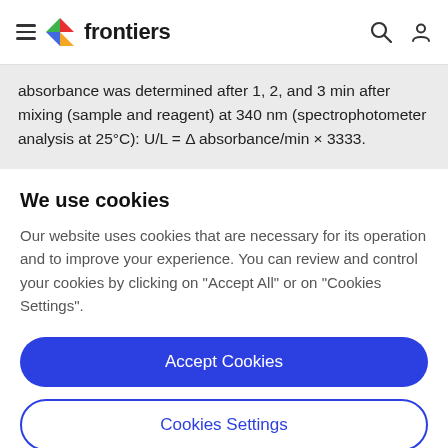frontiers
absorbance was determined after 1, 2, and 3 min after mixing (sample and reagent) at 340 nm (spectrophotometer analysis at 25°C): U/L = Δ absorbance/min × 3333.
We use cookies
Our website uses cookies that are necessary for its operation and to improve your experience. You can review and control your cookies by clicking on "Accept All" or on "Cookies Settings".
Accept Cookies
Cookies Settings